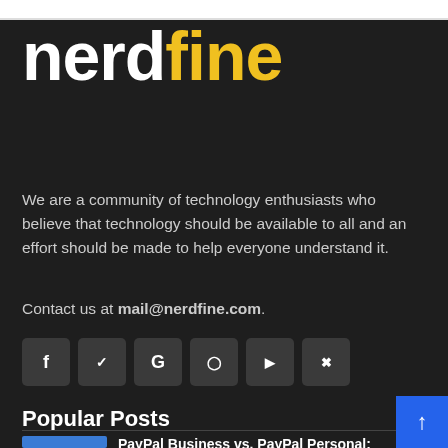[Figure (logo): nerdfine logo: 'nerd' in white bold text and 'fine' in yellow bold text on dark background]
We are a community of technology enthusiasts who believe that technology should be available to all and an effort should be made to help everyone understand it.
Contact us at mail@nerdfine.com.
[Figure (other): Row of 6 social media icon buttons: Facebook (f), Twitter, Google (G), Instagram, YouTube, Pinterest on dark rounded square backgrounds]
Popular Posts
PayPal Business vs. PayPal Personal: